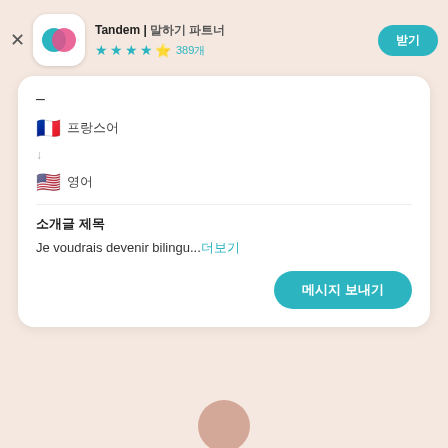[Figure (logo): Tandem app icon with overlapping cyan and pink circles on white rounded-square background]
Tandem | 말하기 파트너
★★★★½ 389개
[Figure (other): Teal rounded-rectangle button with Korean text 받기]
–
🇫🇷 프랑스어
↓
🇺🇸 영어
소개글 제목
Je voudrais devenir bilingu...더보기
[Figure (other): Teal rounded-rectangle button with Korean text 메시지 보내기]